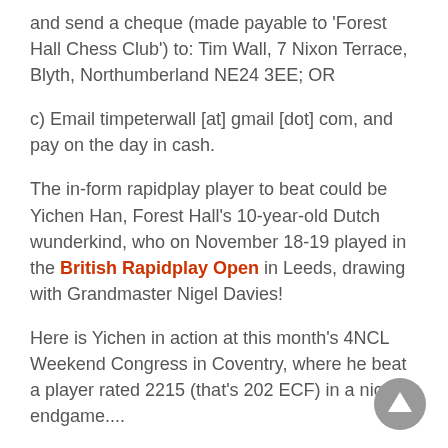and send a cheque (made payable to ‘Forest Hall Chess Club’) to: Tim Wall, 7 Nixon Terrace, Blyth, Northumberland NE24 3EE; OR
c) Email timpeterwall [at] gmail [dot] com, and pay on the day in cash.
The in-form rapidplay player to beat could be Yichen Han, Forest Hall’s 10-year-old Dutch wunderkind, who on November 18-19 played in the British Rapidplay Open in Leeds, drawing with Grandmaster Nigel Davies!
Here is Yichen in action at this month’s 4NCL Weekend Congress in Coventry, where he beat a player rated 2215 (that’s 202 ECF) in a nice endgame....
White: Pavel Asenov (2215)
Black: Yichen Han
King’s Indian Defence